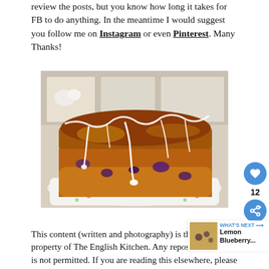review the posts, but you know how long it takes for FB to do anything. In the meantime I would suggest you follow me on Instagram or even Pinterest. Many Thanks!
[Figure (photo): A loaf cake with white icing/glaze drizzled over a golden-brown blueberry loaf, served on a decorative plate with floral pattern, with shelving visible in background.]
This content (written and photography) is the property of The English Kitchen. Any reposting is not permitted. If you are reading this elsewhere, please know that it is stolen content and you may report it to me.